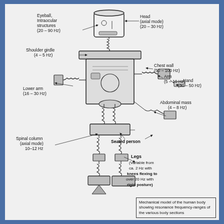[Figure (schematic): Mechanical model of the human body showing resonance frequency-ranges of the various body sections. Labels include: Eyeball/Intraocular structures (20-90 Hz), Head axial mode (20-30 Hz), Shoulder girdle (4-5 Hz), Chest wall (50-100 Hz), Arm (5-10 Hz), Hand (30-50 Hz), Lower arm (16-30 Hz), Abdominal mass (4-8 Hz), Spinal column axial mode 10-12 Hz, Seated person, Legs (Variable from ca. 2 Hz with knees flexing to over 20 Hz with rigid posture).]
Mechanical model of the human body showing resonance frequency-ranges of the various body sections